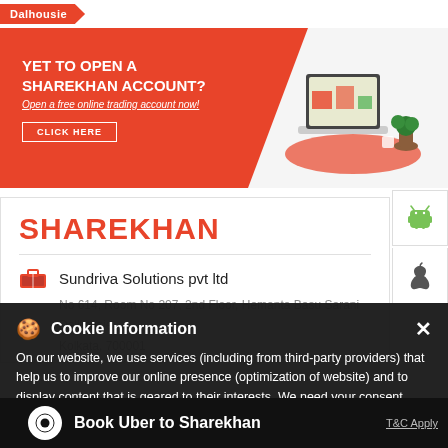Dalhousie
[Figure (screenshot): Orange Sharekhan banner: 'YET TO OPEN A SHAREKHAN ACCOUNT?' with 'Open a free online trading account now!' and CLICK HERE button, laptop illustration on right]
[Figure (screenshot): Android and Apple app store icons on right side]
SHAREKHAN
Sundriva Solutions pvt ltd
No 614, Room No 207, 2nd Floor, Hemanta Basu Sarani
Dalhousie
Kolkata, 700001
Cookie Information
On our website, we use services (including from third-party providers) that help us to improve our online presence (optimization of website) and to display content that is geared to their interests. We need your consent before being able to use these services.
Book Uber to Sharekhan
T&C Apply